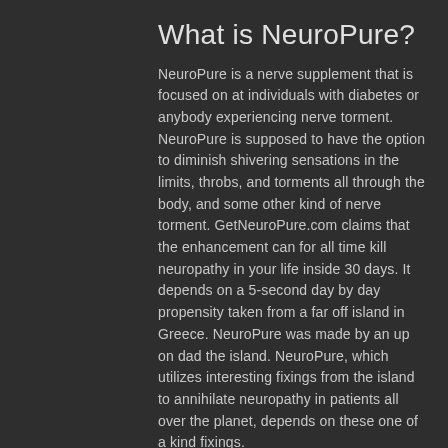What is NeuroPure?
NeuroPure is a nerve supplement that is focused on at individuals with diabetes or anybody experiencing nerve torment. NeuroPure is supposed to have the option to diminish shivering sensations in the limits, throbs, and torments all through the body, and some other kind of nerve torment. GetNeuroPure.com claims that the enhancement can for all time kill neuropathy in your life inside 30 days. It depends on a 5-second day by day propensity taken from a far off island in Greece. NeuroPure was made by an up on dad the island. NeuroPure, which utilizes interesting fixings from the island to annihilate neuropathy in patients all over the planet, depends on these one of a kind fixings.
This high level nerve support recipe is planned with regular fixings that are high in strength to recuperate nerve harm.